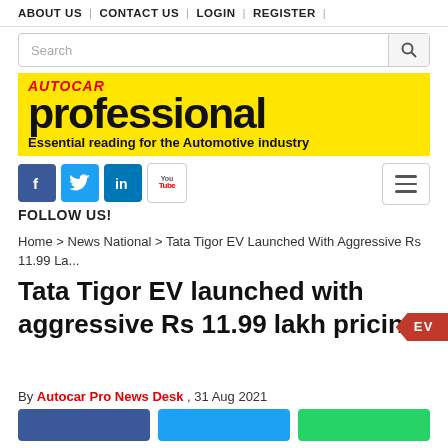ABOUT US | CONTACT US | LOGIN | REGISTER
[Figure (logo): Autocar Professional magazine logo on yellow background with tagline: Essential reading for the Automotive industry]
[Figure (infographic): Social media follow icons: Facebook, Twitter, LinkedIn, YouTube with FOLLOW US! text and hamburger menu button]
Home > News National > Tata Tigor EV Launched With Aggressive Rs 11.99 La...
Tata Tigor EV launched with aggressive Rs 11.99 lakh pricing
By Autocar Pro News Desk , 31 Aug 2021